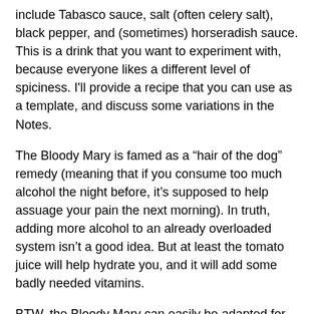include Tabasco sauce, salt (often celery salt), black pepper, and (sometimes) horseradish sauce. This is a drink that you want to experiment with, because everyone likes a different level of spiciness. I'll provide a recipe that you can use as a template, and discuss some variations in the Notes.
The Bloody Mary is famed as a “hair of the dog” remedy (meaning that if you consume too much alcohol the night before, it’s supposed to help assuage your pain the next morning). In truth, adding more alcohol to an already overloaded system isn’t a good idea. But at least the tomato juice will help hydrate you, and it will add some badly needed vitamins.
BTW, the Bloody Mary can easily be adapted for nondrinkers or children: Simply leave out the vodka and you’ll have a Virgin Mary. Vodka provides no flavor (see Notes), so this mocktail is every bit as delicious as the actual cocktail.
A Bloody Mary is usually served on-the-rocks in an old-fashioned glass or in a tall (Collins) glass. The recipe takes 5 minutes to prepare, and yields one drink.